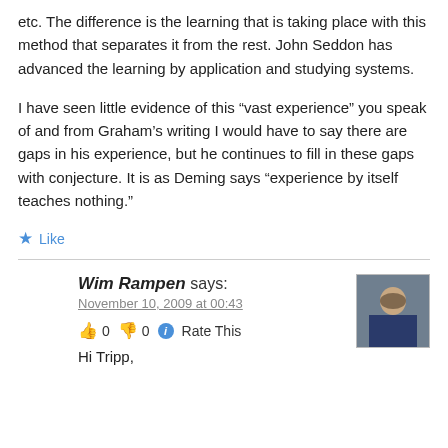etc. The difference is the learning that is taking place with this method that separates it from the rest. John Seddon has advanced the learning by application and studying systems.
I have seen little evidence of this “vast experience” you speak of and from Graham’s writing I would have to say there are gaps in his experience, but he continues to fill in these gaps with conjecture. It is as Deming says “experience by itself teaches nothing.”
★ Like
Wim Rampen says:
November 10, 2009 at 00:43
👍 0 👎 0 ⓘ Rate This
Hi Tripp,